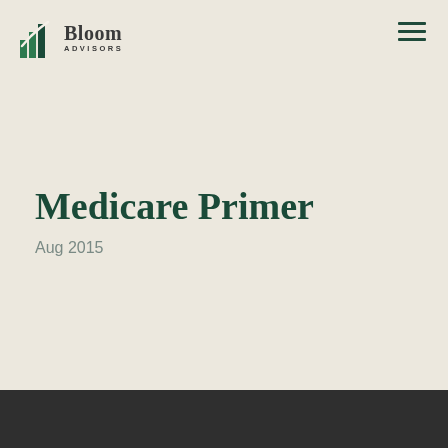[Figure (logo): Bloom Advisors logo with green bar chart icon and company name]
Medicare Primer
Aug 2015